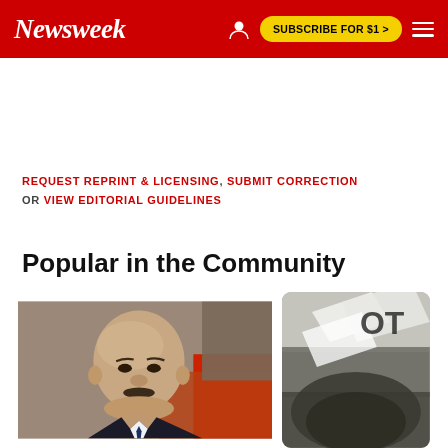Newsweek — SUBSCRIBE FOR $1 >
REQUEST REPRINT & LICENSING, SUBMIT CORRECTION OR VIEW EDITORIAL GUIDELINES
Popular in the Community
[Figure (photo): Photo of an older bald man with a mustache wearing a dark suit, seated, with a red background element visible. Partially visible second photo of a blurred close-up with text 'OT' visible.]